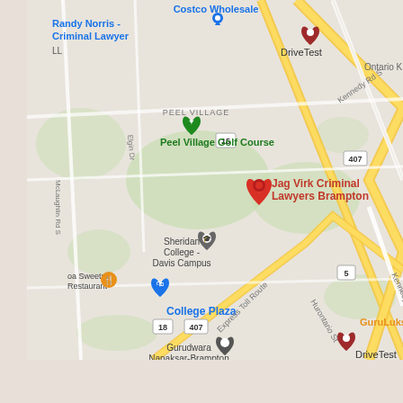[Figure (map): Google Maps screenshot showing Jag Virk Criminal Lawyers Brampton location near Sheridan College Davis Campus, with surrounding landmarks including Peel Village Golf Course, College Plaza, Gurudwara Nanaksar-Brampton, DriveTest, Costco Wholesale, GuruLukshmi restaurant, and major roads including Hurontario St, Kennedy Rd S, and Highway 407 Express Toll Route. The main red pin marks Jag Virk Criminal Lawyers Brampton, with a green pin at Peel Village Golf Course, orange pins at food establishments, teal pin at a shopping location, and grey pin at Sheridan College.]